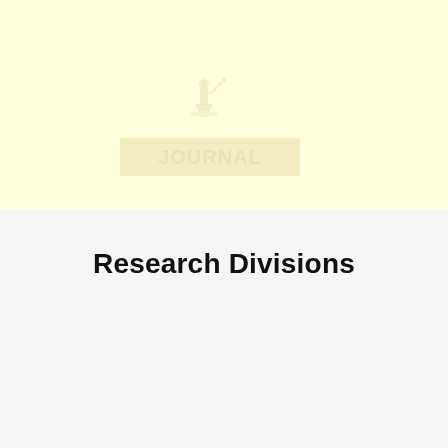[Figure (illustration): Faint watermark-style illustration of a microscope or laboratory instrument with a rectangular label/bar beneath it, shown in muted yellow-brown tones on a light yellow background]
Research Divisions